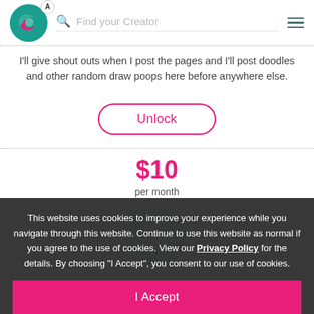Find your Creator
I'll give shout outs when I post the pages and I'll post doodles and other random draw poops here before anywhere else.
Unlock
$10 per month
[Figure (logo): Greyed-out logo thumbnail placeholder]
subscribers
Get to see the pages before they're done. Sketches to inks to final colors. Folks here get throw... OC character subjects for a lewdening once a month. Examples being popular comic and or
( Unlock )
This website uses cookies to improve your experience while you navigate through this website. Continue to use this website as normal if you agree to the use of cookies. View our Privacy Policy for the details. By choosing "I Accept", you consent to our use of cookies.
I Accept